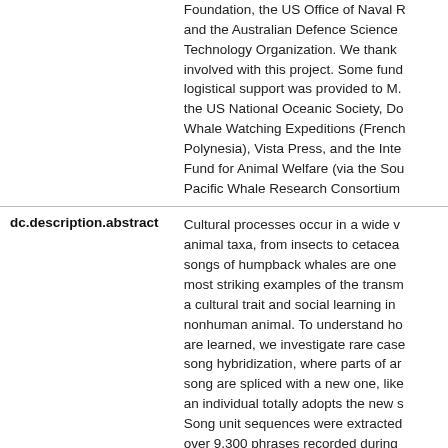| Field | Value |
| --- | --- |
|  | Foundation, the US Office of Naval R... and the Australian Defence Science Technology Organization. We thank involved with this project. Some fund logistical support was provided to M. the US National Oceanic Society, Do Whale Watching Expeditions (French Polynesia), Vista Press, and the Inte Fund for Animal Welfare (via the Sou Pacific Whale Research Consortium |
| dc.description.abstract | Cultural processes occur in a wide v animal taxa, from insects to cetacea songs of humpback whales are one most striking examples of the transm a cultural trait and social learning in nonhuman animal. To understand ho are learned, we investigate rare case song hybridization, where parts of ar song are spliced with a new one, like an individual totally adopts the new s Song unit sequences were extracted over 9,300 phrases recorded during |